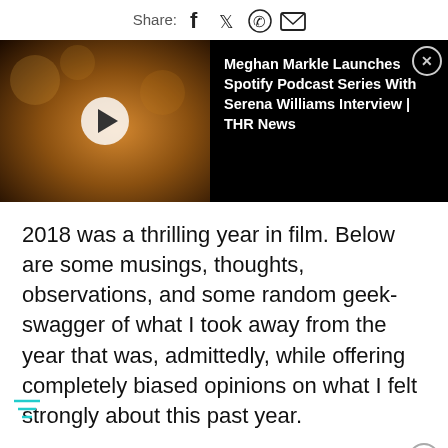Share: [facebook] [twitter] [whatsapp] [email]
[Figure (screenshot): Video thumbnail showing a woman in a white wide-brim hat with a dark background of blurred bokeh lights. A play button is overlaid on the left half. On the right half is a dark panel with text: Meghan Markle Launches Spotify Podcast Series With Serena Williams Interview | THR News. A close button (X) is in the top right corner.]
2018 was a thrilling year in film. Below are some musings, thoughts, observations, and some random geek-swagger of what I took away from the year that was, admittedly, while offering completely biased opinions on what I felt strongly about this past year.
Worst Trend 2018
Films that end with cliffhangers